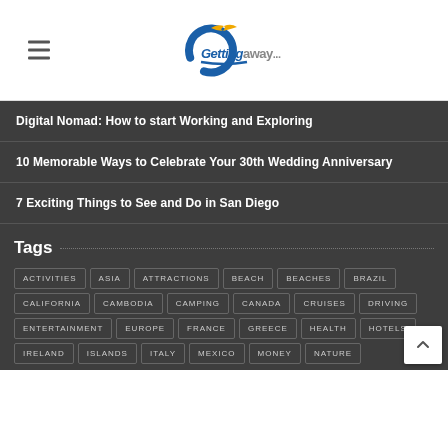[Figure (logo): Gettingaway logo with stylized letter C and bird, text reads 'Gettingaway...']
Digital Nomad: How to start Working and Exploring
10 Memorable Ways to Celebrate Your 30th Wedding Anniversary
7 Exciting Things to See and Do in San Diego
Tags
ACTIVITIES ASIA ATTRACTIONS BEACH BEACHES BRAZIL CALIFORNIA CAMBODIA CAMPING CANADA CRUISES DRIVING ENTERTAINMENT EUROPE FRANCE GREECE HEALTH HOTELS IRELAND ISLANDS ITALY MEXICO MONEY NATURE